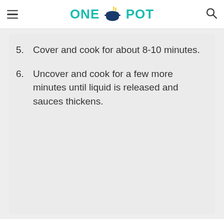ONE POT
5. Cover and cook for about 8-10 minutes.
6. Uncover and cook for a few more minutes until liquid is released and sauces thickens.